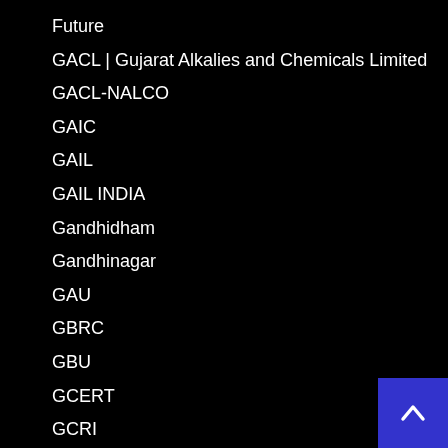Future
GACL | Gujarat Alkalies and Chemicals Limited
GACL-NALCO
GAIC
GAIL
GAIL INDIA
Gandhidham
Gandhinagar
GAU
GBRC
GBU
GCERT
GCRI
GCSC – Gujarat Council of Science City
GDS